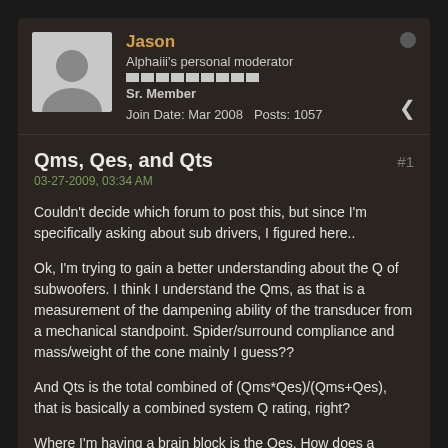Jason
Alphaiii's personal moderator
Sr. Member
Join Date: Mar 2008   Posts: 1057
Qms, Qes, and Qts
03-27-2009, 03:34 AM
Couldn't decide which forum to post this, but since I'm specifically asking about sub drivers, I figured here..
Ok, I'm trying to gain a better understanding about the Q of subwoofers. I think I understand the Qms, as that is a measurement of the dampening ability of the transducer from a mechanical standpoint. Spider/surround compliance and mass/weight of the cone mainly I guess??
And Qts is the total combined of (Qms*Qes)/(Qms+Qes), that is basically a combined system Q rating, right?
Where I'm having a brain block is the Qes. How does a transducer have an electrical Q? I think of Q as the ability of the cone to stop, or its ability to not store kinetic energy and continue moving after the signal is no longer present. As I've read, Qes is a measurement of the transducers control from it's electrical system...but in going with my